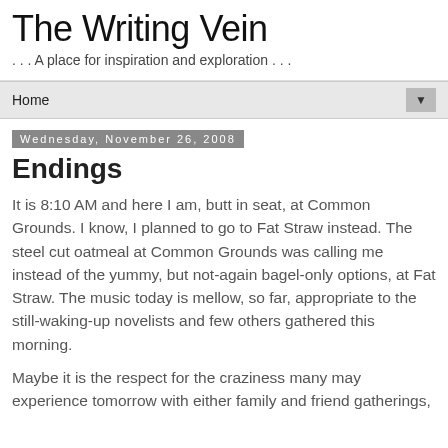The Writing Vein
. . . A place for inspiration and exploration . . .
Home ▼
Wednesday, November 26, 2008
Endings
It is 8:10 AM and here I am, butt in seat, at Common Grounds. I know, I planned to go to Fat Straw instead. The steel cut oatmeal at Common Grounds was calling me instead of the yummy, but not-again bagel-only options, at Fat Straw. The music today is mellow, so far, appropriate to the still-waking-up novelists and few others gathered this morning.
Maybe it is the respect for the craziness many may experience tomorrow with either family and friend gatherings,